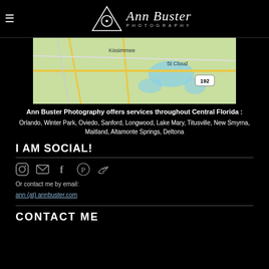Ann Buster Photography
[Figure (map): Google Maps showing the Central Florida area including Kissimmee, St Cloud, and route 192]
Ann Buster Photography offers services throughout Central Florida : Orlando, Winter Park, Oviedo, Sanford, Longwood, Lake Mary, Titusville, New Smyrna, Maitland, Altamonte Springs, Deltona
I AM SOCIAL!
[Figure (infographic): Social media icons: Instagram, Email, Facebook, Pinterest, Twitter]
Or contact me by email: ann (at) annbuster.com
CONTACT ME